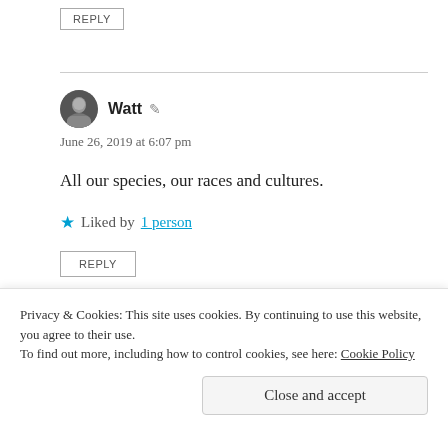REPLY
Watt
June 26, 2019 at 6:07 pm
All our species, our races and cultures.
Liked by 1 person
REPLY
[Figure (infographic): Ad banner showing 'Made Easy' text with green button and person at laptop]
Privacy & Cookies: This site uses cookies. By continuing to use this website, you agree to their use.
To find out more, including how to control cookies, see here: Cookie Policy
Close and accept